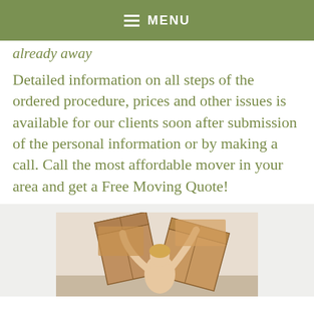MENU
already away
Detailed information on all steps of the ordered procedure, prices and other issues is available for our clients soon after submission of the personal information or by making a call. Call the most affordable mover in your area and get a Free Moving Quote!
[Figure (photo): A person with blonde hair lifting or handling large cardboard moving boxes, photographed from below against a light background.]